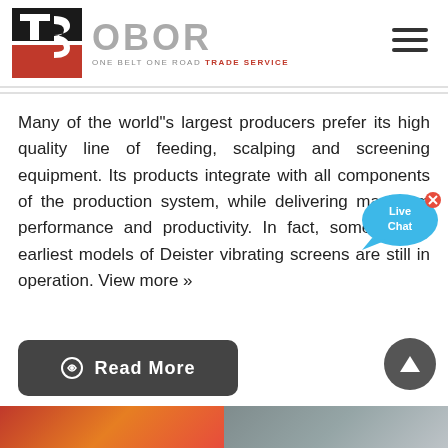[Figure (logo): OBOR (One Belt One Road Trade Service) logo with TS icon in red and black]
Many of the world"s largest producers prefer its high quality line of feeding, scalping and screening equipment. Its products integrate with all components of the production system, while delivering maximum performance and productivity. In fact, some of the earliest models of Deister vibrating screens are still in operation. View more »
[Figure (illustration): Live Chat bubble overlay in blue]
[Figure (other): Read More button with link icon in dark gray]
[Figure (other): Scroll to top circular button in dark gray]
[Figure (photo): Bottom strip showing two partial images]